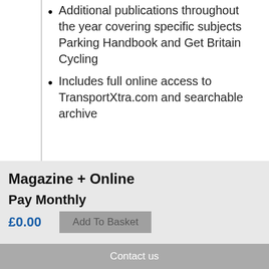Additional publications throughout the year covering specific subjects Parking Handbook and Get Britain Cycling
Includes full online access to TransportXtra.com and searchable archive
Magazine + Online
Pay Monthly
£0.00
Add To Basket
Contact us